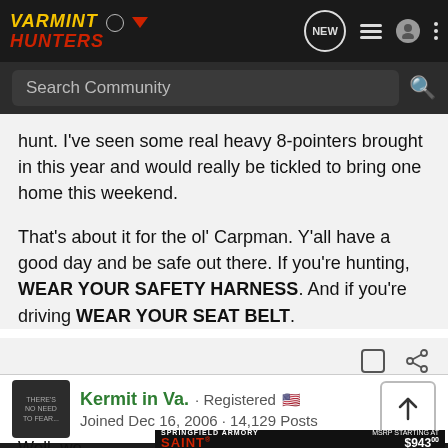VARMINT HUNTERS — Search Community
hunt. I've seen some real heavy 8-pointers brought in this year and would really be tickled to bring one home this weekend.

That's about it for the ol' Carpman. Y'all have a good day and be safe out there. If you're hunting, WEAR YOUR SAFETY HARNESS. And if you're driving WEAR YOUR SEAT BELT.
Kermit in Va. · Registered 🇺🇸
Joined Dec 16, 2006 · 14,129 Posts
[Figure (screenshot): Springfield Armory SAINT advertisement banner with rifle image and MSRP starting at $943.00 Learn More]
Well, we